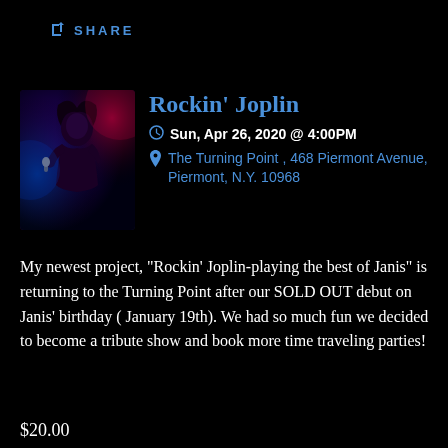SHARE
Rockin’ Joplin
Sun, Apr 26, 2020 @ 4:00PM
The Turning Point , 468 Piermont Avenue, Piermont, N.Y. 10968
[Figure (photo): Singer performing, lit by blue and red stage lighting against dark background]
My newest project, “Rockin’ Joplin-playing the best of Janis” is returning to the Turning Point after our SOLD OUT debut on Janis’ birthday ( January 19th). We had so much fun we decided to become a tribute show and book more time traveling parties!
$20.00